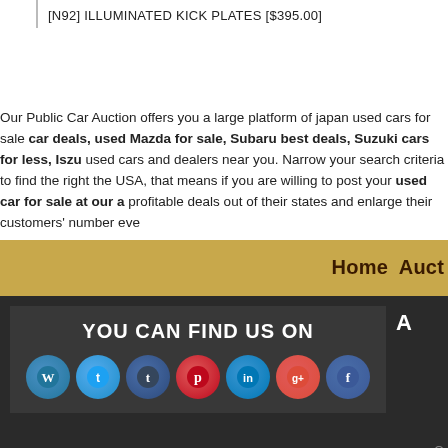[N92] ILLUMINATED KICK PLATES [$395.00]
Our Public Car Auction offers you a large platform of japan used cars for sale car deals, used Mazda for sale, Subaru best deals, Suzuki cars for less, Isuz used cars and dealers near you. Narrow your search criteria to find the right the USA, that means if you are willing to post your used car for sale at our a profitable deals out of their states and enlarge their customers' number eve
Home  Auct
YOU CAN FIND US ON
[Figure (other): Social media icons: WordPress, Twitter, Tumblr, Pinterest, LinkedIn, Google+, Facebook]